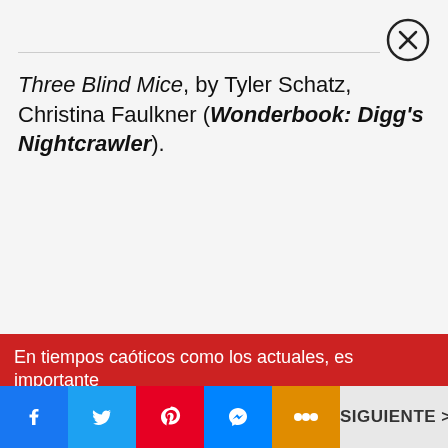Three Blind Mice, by Tyler Schatz, Christina Faulkner (Wonderbook: Digg's Nightcrawler).
En tiempos caóticos como los actuales, es importante...